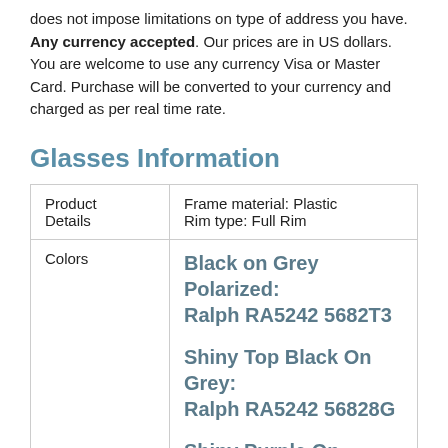does not impose limitations on type of address you have. Any currency accepted. Our prices are in US dollars. You are welcome to use any currency Visa or Master Card. Purchase will be converted to your currency and charged as per real time rate.
Glasses Information
| Product Details | Frame material: Plastic
Rim type: Full Rim |
| --- | --- |
| Colors | Black on Grey Polarized: Ralph RA5242 5682T3
Shiny Top Black On Grey: Ralph RA5242 56828G
Shiny Purple On Violet: Ralph RA5242 5683D1
Shiny Top Brown On Caramel: Ralph RA5242 568413 |